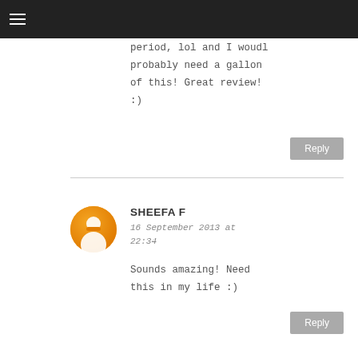period, lol and I woudl probably need a gallon of this! Great review! :)
Reply
SHEEFA F
16 September 2013 at 22:34
Sounds amazing! Need this in my life :)
Reply